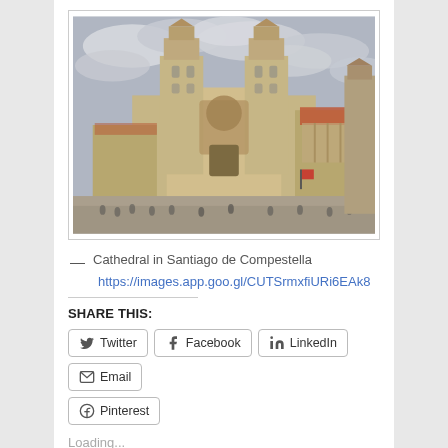[Figure (photo): Photograph of the Cathedral in Santiago de Compestella, showing the ornate Baroque facade with tall towers against a cloudy sky, with people gathered in the plaza in front.]
— Cathedral in Santiago de Compestella
https://images.app.goo.gl/CUTSrmxfiURi6EAk8
SHARE THIS:
Twitter | Facebook | LinkedIn | Email | Pinterest
Loading...